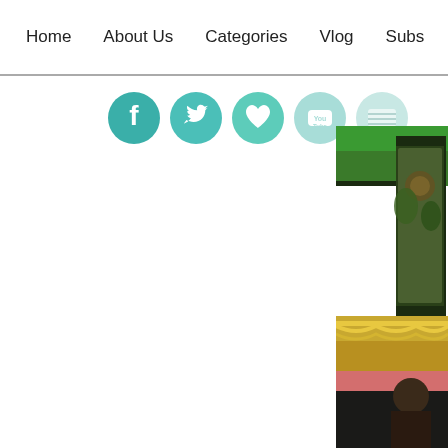Home   About Us   Categories   Vlog   Subs...
[Figure (illustration): Social media icons: Facebook, Twitter, heart/like, YouTube, and a fifth icon, all circular teal/mint colored]
[Figure (photo): Partial photo on right side showing a temple or shrine interior with green decorations, gold ornaments, garlands, and a person visible at bottom]